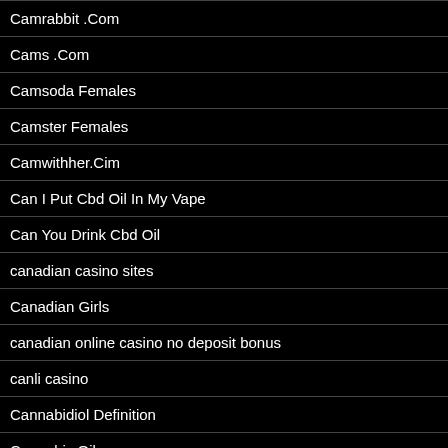Camrabbit .Com
Cams .Com
Camsoda Females
Camster Females
Camwithher.Cim
Can I Put Cbd Oil In My Vape
Can You Drink Cbd Oil
canadian casino sites
Canadian Girls
canadian online casino no deposit bonus
canli casino
Cannabidiol Definition
Cannabis Oil